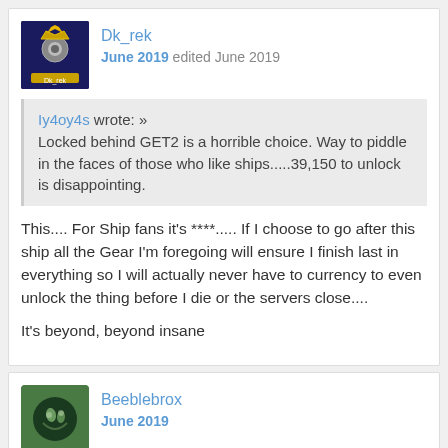Dk_rek
June 2019 edited June 2019
Iy4oy4s wrote: » Locked behind GET2 is a horrible choice. Way to piddle in the faces of those who like ships.....39,150 to unlock is disappointing.
This.... For Ship fans it's ****..... If I choose to go after this ship all the Gear I'm foregoing will ensure I finish last in everything so I will actually never have to currency to even unlock the thing before I die or the servers close....
It's beyond, beyond insane
Beeblebrox
June 2019
So does Unending Loyalty expire on all ships once 1 ally has